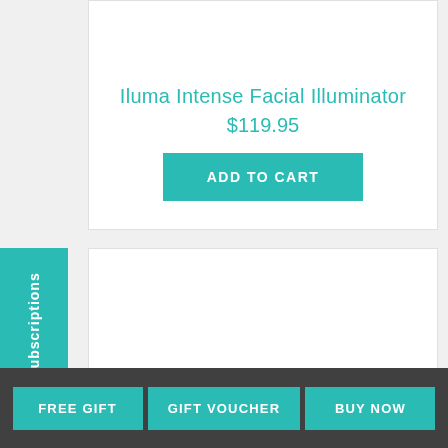Iluma Intense Facial Illuminator
$119.95
ADD TO CART
[Figure (screenshot): Second product card area, mostly white/empty]
for Skin Subscriptions
FREE GIFT
GIFT VOUCHER
BUY NOW